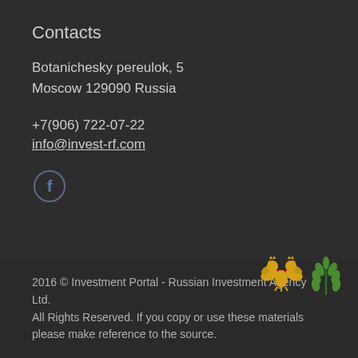Contacts
Botanichesky pereulok, 5
Moscow 129090 Russia
+7(906) 722-07-22
info@invest-rf.com
[Figure (other): Facebook social media icon in a circle]
2016 © Investment Portal - Russian Investment Agency Ltd.
All Rights Reserved. If you copy or use these materials please make reference to the source.
[Figure (logo): Russian double-headed eagle emblem and green wheat/plant logo]